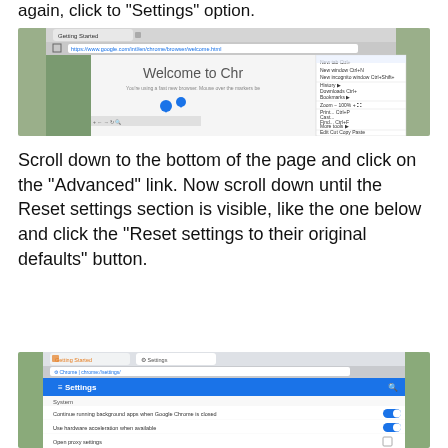again, click to “Settings” option.
[Figure (screenshot): Screenshot of Google Chrome browser with the menu open showing options including New tab, New window, New incognito window, History, Downloads, Bookmarks, Zoom, Print, Cast, Find, More tools, Edit (Cut Copy Paste), and Settings highlighted at the bottom.]
Scroll down to the bottom of the page and click on the “Advanced” link. Now scroll down until the Reset settings section is visible, like the one below and click the “Reset settings to their original defaults” button.
[Figure (screenshot): Screenshot of Chrome Settings page showing System section with toggles for ‘Continue running background apps when Google Chrome is closed’ (on), ‘Use hardware acceleration when available’ (on), and ‘Open proxy settings’.]